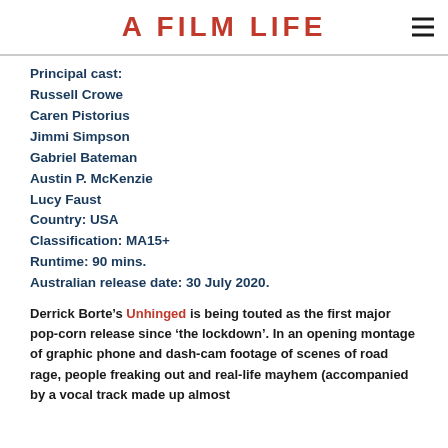A FILM LIFE
Principal cast:
Russell Crowe
Caren Pistorius
Jimmi Simpson
Gabriel Bateman
Austin P. McKenzie
Lucy Faust
Country: USA
Classification: MA15+
Runtime: 90 mins.
Australian release date: 30 July 2020.
Derrick Borte's Unhinged is being touted as the first major pop-corn release since ‘the lockdown’. In an opening montage of graphic phone and dash-cam footage of scenes of road rage, people freaking out and real-life mayhem (accompanied by a vocal track made up almost